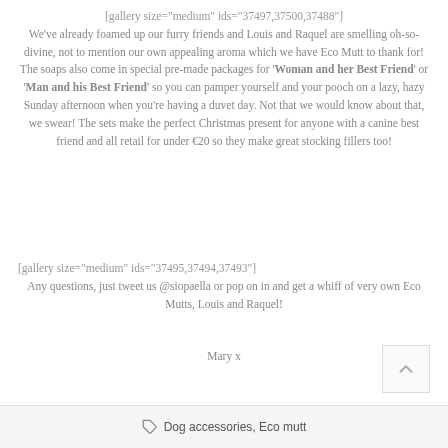[gallery size="medium" ids="37497,37500,37488"] We've already foamed up our furry friends and Louis and Raquel are smelling oh-so-divine, not to mention our own appealing aroma which we have Eco Mutt to thank for! The soaps also come in special pre-made packages for 'Woman and her Best Friend' or 'Man and his Best Friend' so you can pamper yourself and your pooch on a lazy, hazy Sunday afternoon when you're having a duvet day. Not that we would know about that, we swear! The sets make the perfect Christmas present for anyone with a canine best friend and all retail for under €20 so they make great stocking fillers too!
[gallery size="medium" ids="37495,37494,37493"]
Any questions, just tweet us @siopaella or pop on in and get a whiff of very own Eco Mutts, Louis and Raquel!
Mary x
Dog accessories, Eco mutt